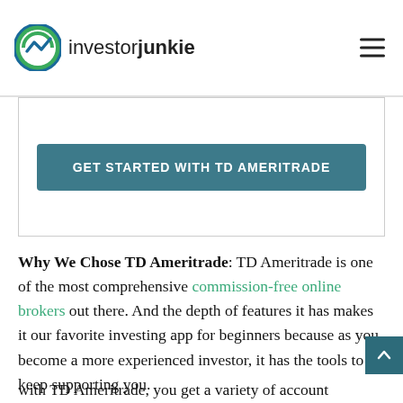investorjunkie
[Figure (other): Get Started With TD Ameritrade call-to-action button inside a bordered box]
Why We Chose TD Ameritrade: TD Ameritrade is one of the most comprehensive commission-free online brokers out there. And the depth of features it has makes it our favorite investing app for beginners because as you become a more experienced investor, it has the tools to keep supporting you.
with TD Ameritrade, you get a variety of account